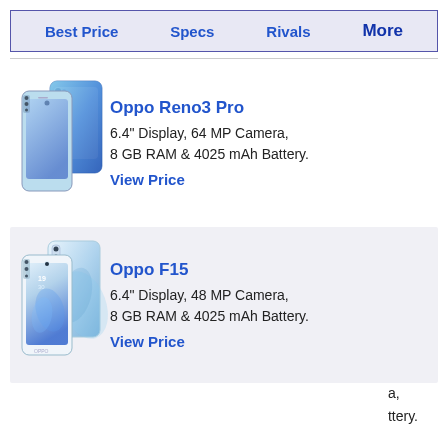Best Price  Specs  Rivals  More
[Figure (photo): Oppo Reno3 Pro smartphone in blue gradient color, front and back view]
Oppo Reno3 Pro
6.4" Display, 64 MP Camera, 8 GB RAM & 4025 mAh Battery.
View Price
[Figure (photo): Oppo F15 smartphone in white/silver color with blue swirl design, front and back view]
Oppo F15
6.4" Display, 48 MP Camera, 8 GB RAM & 4025 mAh Battery.
View Price
a,
ttery.